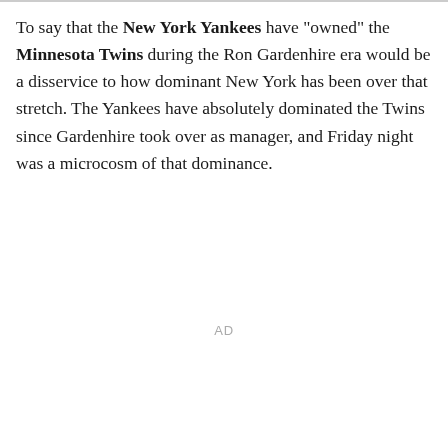To say that the New York Yankees have "owned" the Minnesota Twins during the Ron Gardenhire era would be a disservice to how dominant New York has been over that stretch. The Yankees have absolutely dominated the Twins since Gardenhire took over as manager, and Friday night was a microcosm of that dominance.
AD